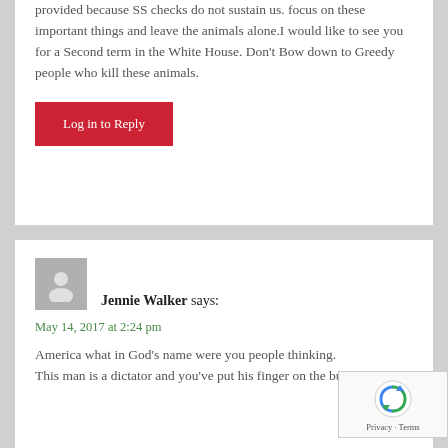provided because SS checks do not sustain us. focus on these important things and leave the animals alone.I would like to see you for a Second term in the White House. Don't Bow down to Greedy people who kill these animals.
Log in to Reply
Jennie Walker says:
May 14, 2017 at 2:24 pm
America what in God's name were you people thinking.
This man is a dictator and you've put his finger on the button.